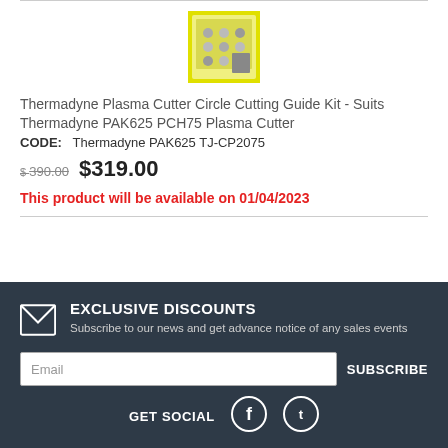[Figure (photo): Product photo of a Thermadyne Plasma Cutter Circle Cutting Guide Kit in a yellow case]
Thermadyne Plasma Cutter Circle Cutting Guide Kit - Suits Thermadyne PAK625 PCH75 Plasma Cutter
CODE:   Thermadyne PAK625 TJ-CP2075
$ 390.00  $319.00
This product will be available on 01/04/2023
EXCLUSIVE DISCOUNTS
Subscribe to our news and get advance notice of any sales events
Email
SUBSCRIBE
GET SOCIAL